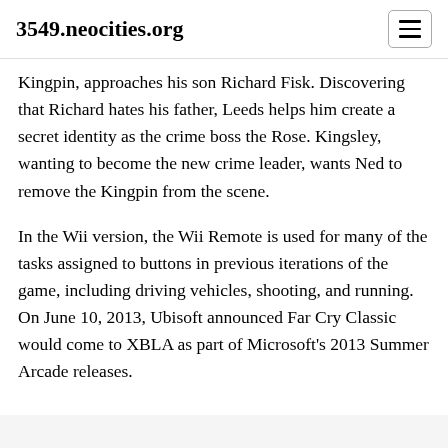3549.neocities.org
Kingpin, approaches his son Richard Fisk. Discovering that Richard hates his father, Leeds helps him create a secret identity as the crime boss the Rose. Kingsley, wanting to become the new crime leader, wants Ned to remove the Kingpin from the scene.
In the Wii version, the Wii Remote is used for many of the tasks assigned to buttons in previous iterations of the game, including driving vehicles, shooting, and running. On June 10, 2013, Ubisoft announced Far Cry Classic would come to XBLA as part of Microsoft's 2013 Summer Arcade releases.